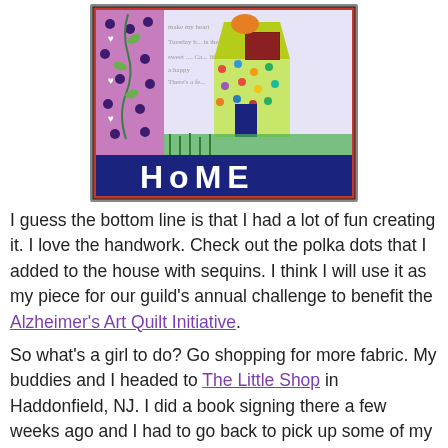[Figure (photo): A colorful quilt/wall hanging featuring a whimsical house with polka dots and sequins, surrounded by flowers and vines on a purple dotted background. The bottom of the quilt reads 'HoME' in large appliqued letters on a dark blue band.]
I guess the bottom line is that I had a lot of fun creating it. I love the handwork. Check out the polka dots that I added to the house with sequins. I think I will use it as my piece for our guild's annual challenge to benefit the Alzheimer's Art Quilt Initiative.
So what's a girl to do? Go shopping for more fabric. My buddies and I headed to The Little Shop in Haddonfield, NJ. I did a book signing there a few weeks ago and I had to go back to pick up some of my quilts. I have to tell you that Debbie, the owner, has the most fantastic taste in fabric. She loves clear colors. Plus she has lots of unique patterns